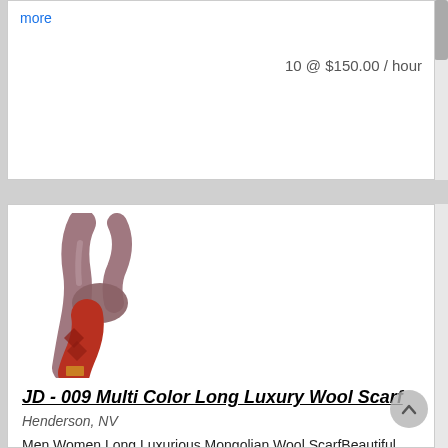more
10 @ $150.00 / hour
[Figure (photo): Product photo of a multi-color long luxury wool scarf in lavender, light brown, and red-orange colors.]
JD - 009 Multi Color Long Luxury Wool Scarf
Henderson, NV
Men Women Long Luxurious Mongolian Wool ScarfBeautiful Lavender, light brown and red orange colors blended in a beautiful design long wool scarf.Soft to the skin.. light .. comfortable..and stylish 70 ... more